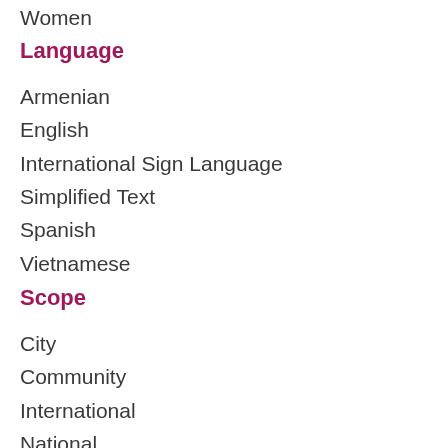Women
Language
Armenian
English
International Sign Language
Simplified Text
Spanish
Vietnamese
Scope
City
Community
International
National
Region (province/district)
Rural